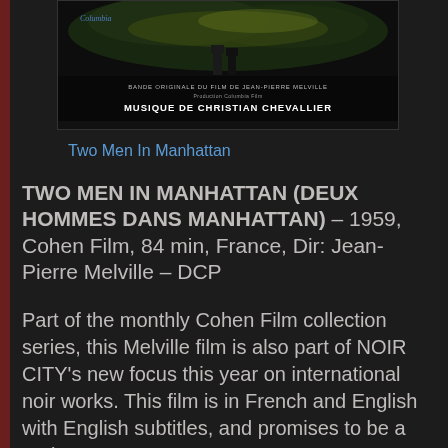[Figure (photo): Album/film cover for 'Two Men In Manhattan' showing two silhouetted figures in a dark cityscape. Text reads: BANDE ORIGINALE DU FILM DE JEAN-PIERRE MELVILLE, Production Columbia Film, MUSIQUE DE CHRISTIAN CHEVALLIER. Columbia logo top left.]
Two Men In Manhattan
TWO MEN IN MANHATTAN (DEUX HOMMES DANS MANHATTAN) – 1959, Cohen Film, 84 min, France, Dir: Jean-Pierre Melville – DCP
Part of the monthly Cohen Film collection series, this Melville film is also part of NOIR CITY's new focus this year on international noir works. This film is in French and English with English subtitles, and promises to be a real treasure!